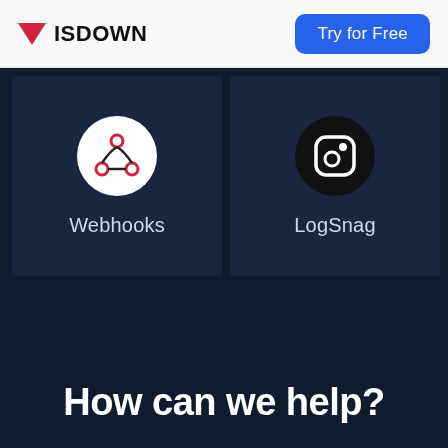ISDOWN | Try for Free
[Figure (illustration): Webhooks integration icon: white circle with red webhook/node logo inside, on dark card background, labeled 'Webhooks']
[Figure (illustration): LogSnag integration icon: black circle with white camera-style icon inside, on dark card background, labeled 'LogSnag']
How can we help?